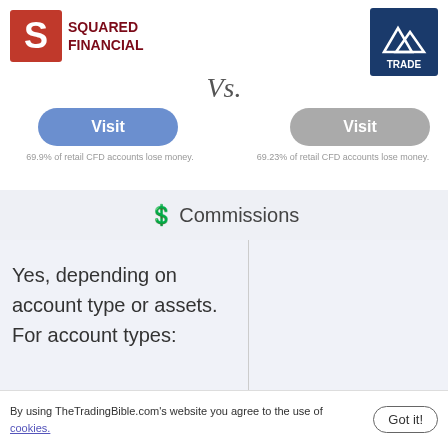[Figure (logo): Squared Financial logo - red S icon with SQUARED FINANCIAL text in dark red/maroon]
[Figure (logo): AA Trade logo - blue square with mountain/peaks icon and TRADE text]
Vs.
Visit
Visit
69.9% of retail CFD accounts lose money.
69.23% of retail CFD accounts lose money.
💲 Commissions
|  |  |
| --- | --- |
| Yes, depending on account type or assets. For account types: |  |
By using TheTradingBible.com's website you agree to the use of cookies.